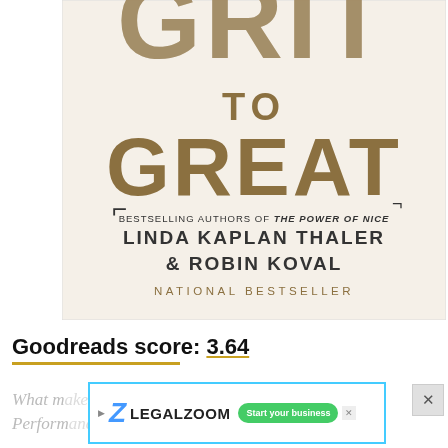[Figure (illustration): Book cover for 'Grit to Great' showing large tan/brown distressed text reading GRIT (partially cropped at top) TO GREAT on a cream/off-white background, with author names Linda Kaplan Thaler & Robin Koval and 'Bestselling Authors of The Power of Nice' tagline, National Bestseller label]
Goodreads score: 3.64
What m... ent? Perfo... le,
[Figure (screenshot): LegalZoom advertisement banner with blue Z logo, LEGALZOOM text, and 'Start your business' green button, with close X button]